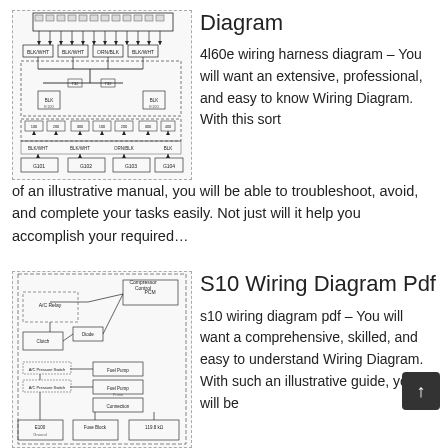[Figure (schematic): 4l60e wiring harness schematic diagram showing electrical connectors and pin layouts]
Diagram
4l60e wiring harness diagram – You will want an extensive, professional, and easy to know Wiring Diagram. With this sort of an illustrative manual, you will be able to troubleshoot, avoid, and complete your tasks easily. Not just will it help you accomplish your required…
[Figure (schematic): S10 wiring diagram pdf schematic showing fuel pump and electrical system layout]
S10 Wiring Diagram Pdf
s10 wiring diagram pdf – You will want a comprehensive, skilled, and easy to understand Wiring Diagram. With such an illustrative guide, you will be capable of troubleshoot, avoid, and total your